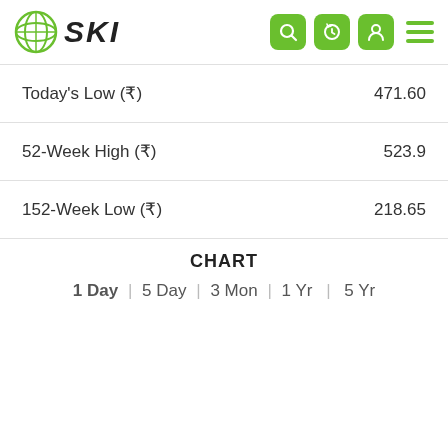SKI
|  |  |
| --- | --- |
| Today's Low (₹) | 471.60 |
| 52-Week High (₹) | 523.9 |
| 152-Week Low (₹) | 218.65 |
CHART
1 Day | 5 Day | 3 Mon | 1 Yr | 5 Yr